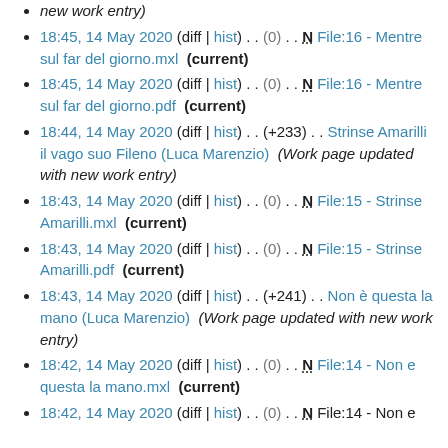new work entry)
18:45, 14 May 2020 (diff | hist) . . (0) . . N File:16 - Mentre sul far del giorno.mxl (current)
18:45, 14 May 2020 (diff | hist) . . (0) . . N File:16 - Mentre sul far del giorno.pdf (current)
18:44, 14 May 2020 (diff | hist) . . (+233) . . Strinse Amarilli il vago suo Fileno (Luca Marenzio) (Work page updated with new work entry)
18:43, 14 May 2020 (diff | hist) . . (0) . . N File:15 - Strinse Amarilli.mxl (current)
18:43, 14 May 2020 (diff | hist) . . (0) . . N File:15 - Strinse Amarilli.pdf (current)
18:43, 14 May 2020 (diff | hist) . . (+241) . . Non è questa la mano (Luca Marenzio) (Work page updated with new work entry)
18:42, 14 May 2020 (diff | hist) . . (0) . . N File:14 - Non e questa la mano.mxl (current)
18:42, 14 May 2020 (diff | hist) . . (0) . . N File:14 - Non e